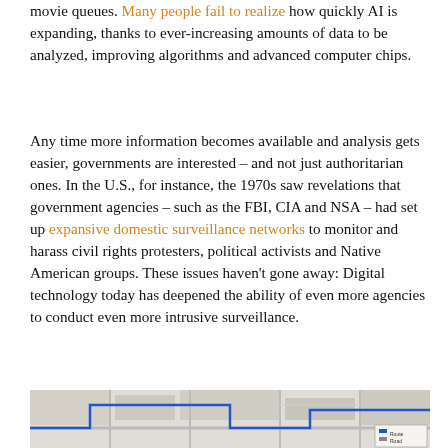movie queues. Many people fail to realize how quickly AI is expanding, thanks to ever-increasing amounts of data to be analyzed, improving algorithms and advanced computer chips.
Any time more information becomes available and analysis gets easier, governments are interested – and not just authoritarian ones. In the U.S., for instance, the 1970s saw revelations that government agencies – such as the FBI, CIA and NSA – had set up expansive domestic surveillance networks to monitor and harass civil rights protesters, political activists and Native American groups. These issues haven't gone away: Digital technology today has deepened the ability of even more agencies to conduct even more intrusive surveillance.
[Figure (map): Partial view of a street map showing roads, blocks, and a blue route line, with a small map legend box in the lower right corner.]